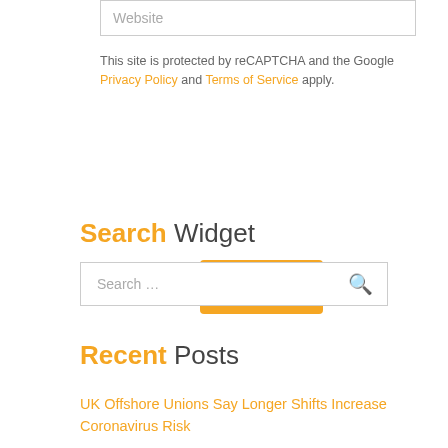Website
This site is protected by reCAPTCHA and the Google Privacy Policy and Terms of Service apply.
Post Comment
Search Widget
Search …
Recent Posts
UK Offshore Unions Say Longer Shifts Increase Coronavirus Risk